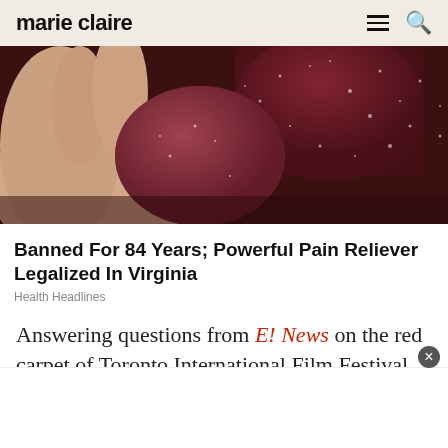marie claire
[Figure (photo): Close-up of a hand holding dark red sugar-coated gummy candy pieces]
Banned For 84 Years; Powerful Pain Reliever Legalized In Virginia
Health Headlines
Answering questions from E! News on the red carpet of Toronto International Film Festival, Justin replied: 'She did? Sure!
[Figure (other): White overlay advertisement banner at the bottom of the page with a close button]